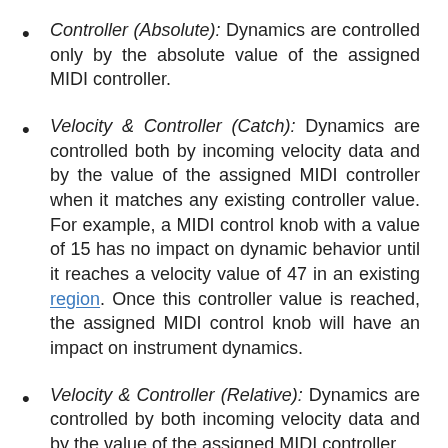Controller (Absolute): Dynamics are controlled only by the absolute value of the assigned MIDI controller.
Velocity & Controller (Catch): Dynamics are controlled both by incoming velocity data and by the value of the assigned MIDI controller when it matches any existing controller value. For example, a MIDI control knob with a value of 15 has no impact on dynamic behavior until it reaches a velocity value of 47 in an existing region. Once this controller value is reached, the assigned MIDI control knob will have an impact on instrument dynamics.
Velocity & Controller (Relative): Dynamics are controlled by both incoming velocity data and by the value of the assigned MIDI controller